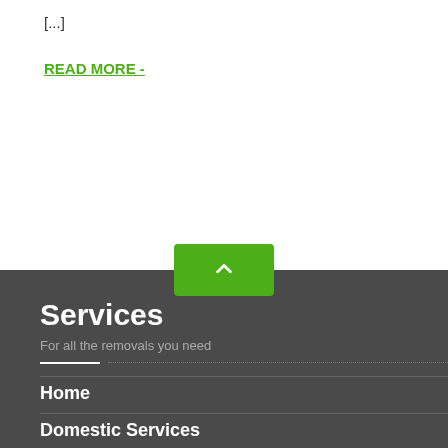[...]
READ MORE -
Services
For all the removals you need
Home
Domestic Services
Commercial Services
Recycling
Skip Hire Alternative
Enquiry